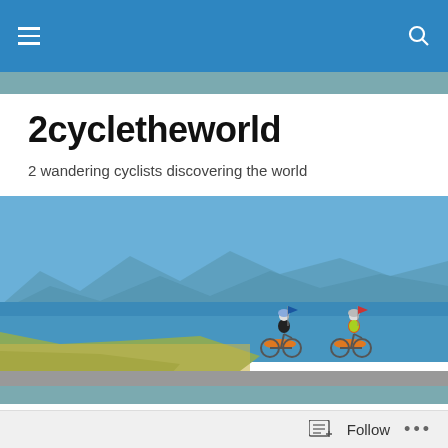Navigation bar with hamburger menu and search icon
2cycletheworld
2 wandering cyclists discovering the world
[Figure (photo): Two cyclists with loaded touring bikes stopped on a coastal road, blue sea and mountains visible in the background under a clear blue sky. Cyclists wearing helmets, one in bright orange, one in neon green vest.]
Steep mountains, abundant castles and unrivaled hospitality
Follow   •••